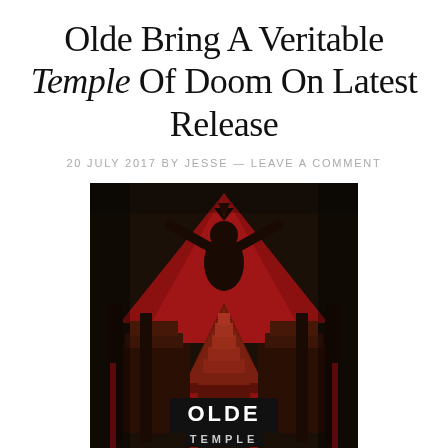Olde Bring A Veritable Temple Of Doom On Latest Release
20 JULY 2017 BY JESSE — LEAVE A COMMENT
[Figure (illustration): Album cover art for Olde - Temple. Dark graphic illustration featuring a central figure with arms raised against a red background, flanked by temple architecture. Text 'OLDE' and 'TEMPLE' displayed at the bottom in bold lettering. Black, white and red color scheme.]